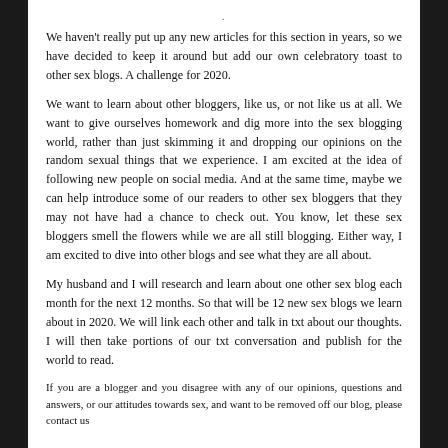We haven't really put up any new articles for this section in years, so we have decided to keep it around but add our own celebratory toast to other sex blogs.  A challenge for 2020.
We want to learn about other bloggers, like us, or not like us at all.  We want to give ourselves homework and dig more into the sex blogging world, rather than just skimming it and dropping our opinions on the random sexual things that we experience.  I am excited at the idea of following new people on social media.  And at the same time, maybe we can help introduce some of our readers to other sex bloggers that they may not have had a chance to check out.  You know, let these sex bloggers smell the flowers while we are all still blogging.  Either way, I am excited to dive into other blogs and see what they are all about.
My husband and I will research and learn about one other sex blog each month for the next 12 months. So that will be 12 new sex blogs we learn about in 2020.  We will link each other and talk in txt about our thoughts.  I will then take portions of our txt conversation and publish for the world to read.
If you are a blogger and you disagree with any of our opinions, questions and answers, or our attitudes towards sex, and want to be removed off our blog, please contact us